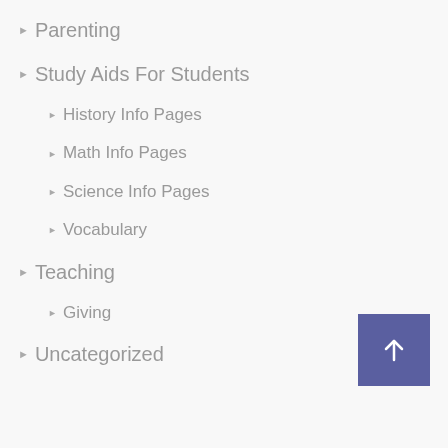▶ Parenting
▶ Study Aids For Students
▶ History Info Pages
▶ Math Info Pages
▶ Science Info Pages
▶ Vocabulary
▶ Teaching
▶ Giving
▶ Uncategorized
[Figure (other): Back to top button — purple square with white upward arrow]